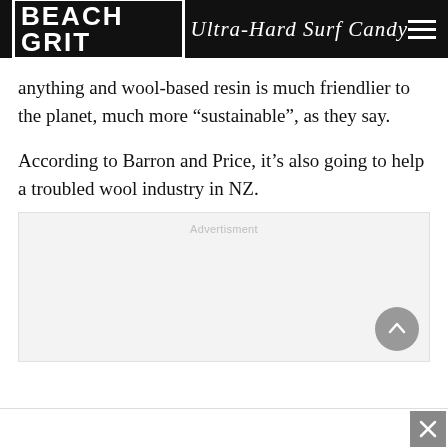BEACH GRIT Ultra-Hard Surf Candy
anything and wool-based resin is much friendlier to the planet, much more “sustainable”, as they say.
According to Barron and Price, it’s also going to help a troubled wool industry in NZ.
[Figure (other): Advertisement placeholder box with label 'Advertisment' and a scroll-to-top button in the bottom right corner]